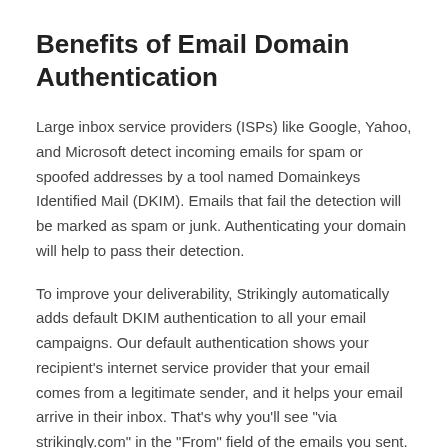Benefits of Email Domain Authentication
Large inbox service providers (ISPs) like Google, Yahoo, and Microsoft detect incoming emails for spam or spoofed addresses by a tool named Domainkeys Identified Mail (DKIM). Emails that fail the detection will be marked as spam or junk. Authenticating your domain will help to pass their detection.
To improve your deliverability, Strikingly automatically adds default DKIM authentication to all your email campaigns. Our default authentication shows your recipient's internet service provider that your email comes from a legitimate sender, and it helps your email arrive in their inbox. That's why you'll see "via strikingly.com" in the "From" field of the emails you sent.